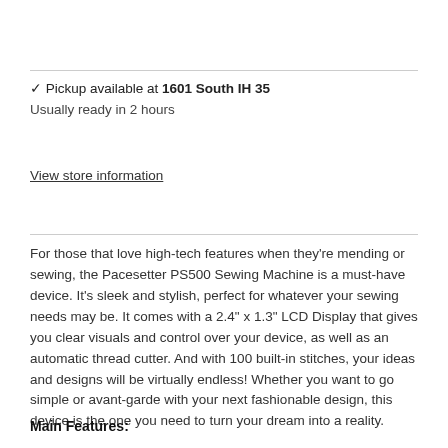✓ Pickup available at 1601 South IH 35
Usually ready in 2 hours
View store information
For those that love high-tech features when they're mending or sewing, the Pacesetter PS500 Sewing Machine is a must-have device. It's sleek and stylish, perfect for whatever your sewing needs may be. It comes with a 2.4" x 1.3" LCD Display that gives you clear visuals and control over your device, as well as an automatic thread cutter. And with 100 built-in stitches, your ideas and designs will be virtually endless! Whether you want to go simple or avant-garde with your next fashionable design, this device is the one you need to turn your dream into a reality.
Main Features: